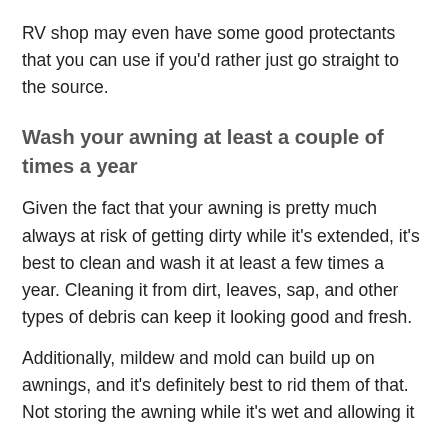RV shop may even have some good protectants that you can use if you'd rather just go straight to the source.
Wash your awning at least a couple of times a year
Given the fact that your awning is pretty much always at risk of getting dirty while it's extended, it's best to clean and wash it at least a few times a year. Cleaning it from dirt, leaves, sap, and other types of debris can keep it looking good and fresh.
Additionally, mildew and mold can build up on awnings, and it's definitely best to rid them of that. Not storing the awning while it's wet and allowing it